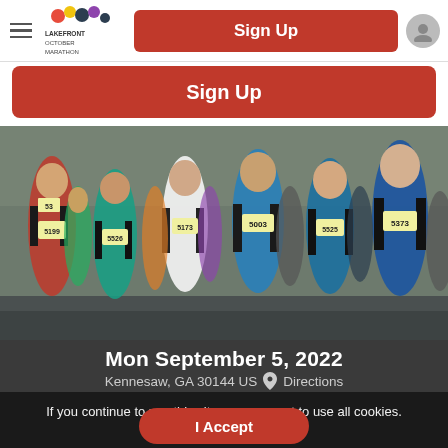Sign Up
Sign Up
[Figure (photo): Group of marathon runners with race bibs including numbers 5199, 5526, 5003, 5525, 5373 running on a road]
Mon September 5, 2022
Kennesaw, GA 30144 US  Directions
If you continue to use this site, you consent to use all cookies. Learn More
I Accept